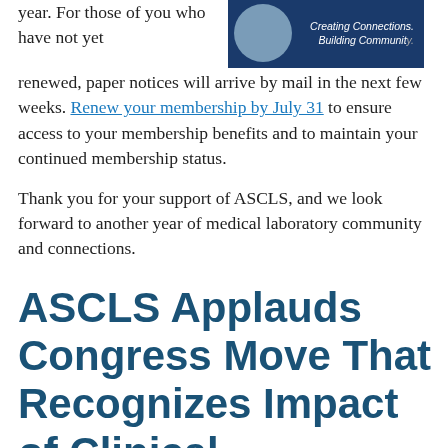year. For those of you who have not yet
[Figure (illustration): Dark blue banner image with a circular photo of people and italic text reading 'Creating Connections. Building Community.']
renewed, paper notices will arrive by mail in the next few weeks. Renew your membership by July 31 to ensure access to your membership benefits and to maintain your continued membership status.
Thank you for your support of ASCLS, and we look forward to another year of medical laboratory community and connections.
ASCLS Applauds Congress Move That Recognizes Impact of Clinical Laboratories